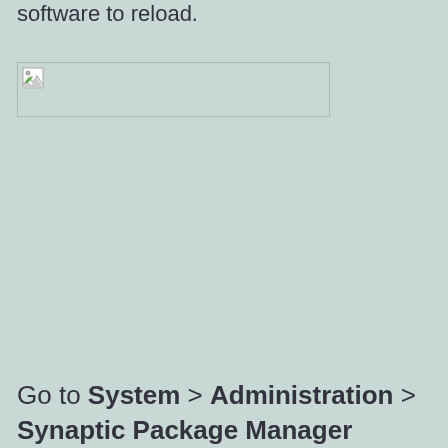software to reload.
[Figure (other): Broken/missing image placeholder shown as a small icon inside a bordered rectangle]
Go to System > Administration > Synaptic Package Manager